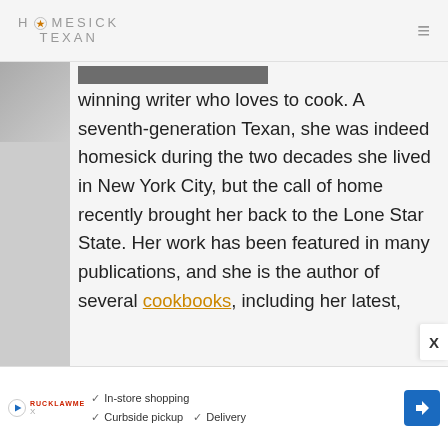HOMESICK TEXAN
[Figure (photo): Partially visible author photo (cropped/blurred) on left side]
Lisa Fain is a James Beard Award-winning writer who loves to cook. A seventh-generation Texan, she was indeed homesick during the two decades she lived in New York City, but the call of home recently brought her back to the Lone Star State. Her work has been featured in many publications, and she is the author of several cookbooks, including her latest,
[Figure (screenshot): Bottom advertisement banner: In-store shopping, Curbside pickup, Delivery with navigation arrow icon]